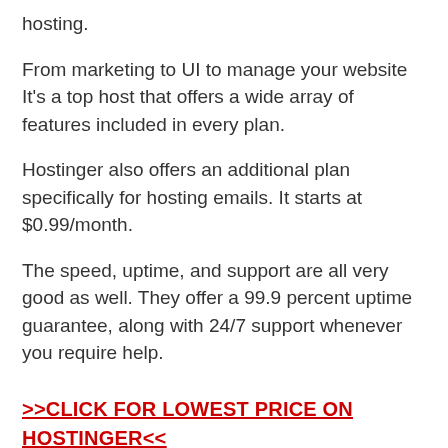hosting.
From marketing to UI to manage your website It’s a top host that offers a wide array of features included in every plan.
Hostinger also offers an additional plan specifically for hosting emails. It starts at $0.99/month.
The speed, uptime, and support are all very good as well. They offer a 99.9 percent uptime guarantee, along with 24/7 support whenever you require help.
>>CLICK FOR LOWEST PRICE ON HOSTINGER<<